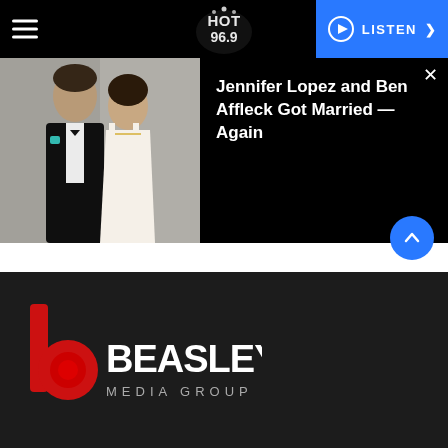HOT 96.9 — LISTEN
[Figure (photo): Photo of Ben Affleck in a tuxedo and Jennifer Lopez in a white gown at a formal event, standing close together]
Jennifer Lopez and Ben Affleck Got Married — Again
[Figure (logo): Beasley Media Group LLC logo with red stylized 'b' icon and white BEASLEY MEDIA GROUP LLC text]